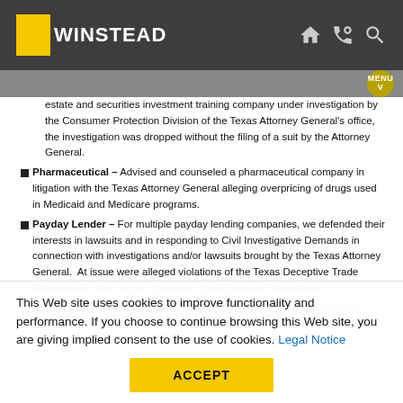WINSTEAD
estate and securities investment training company under investigation by the Consumer Protection Division of the Texas Attorney General's office, the investigation was dropped without the filing of a suit by the Attorney General.
Pharmaceutical – Advised and counseled a pharmaceutical company in litigation with the Texas Attorney General alleging overpricing of drugs used in Medicaid and Medicare programs.
Payday Lender – For multiple payday lending companies, we defended their interests in lawsuits and in responding to Civil Investigative Demands in connection with investigations and/or lawsuits brought by the Texas Attorney General. At issue were alleged violations of the Texas Deceptive Trade Practices Act and various consumer credit laws and regulations.
Communications Corporation – Represented a large communications company responding to a Civil Investigative Demand in connection with investigations of…
This Web site uses cookies to improve functionality and performance. If you choose to continue browsing this Web site, you are giving implied consent to the use of cookies. Legal Notice